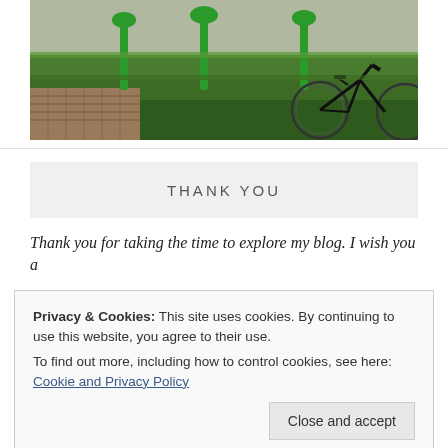[Figure (photo): Outdoor photo showing a bicycle parked near green metallic tree-shaped bike racks on a grass-covered platform, with brick pavement visible in the background.]
THANK YOU
Thank you for taking the time to explore my blog. I wish you a
Privacy & Cookies: This site uses cookies. By continuing to use this website, you agree to their use.
To find out more, including how to control cookies, see here:
Cookie and Privacy Policy

Close and accept